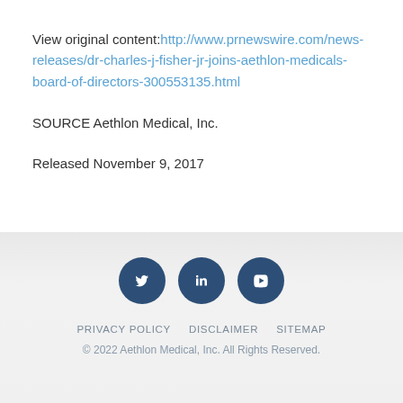View original content:http://www.prnewswire.com/news-releases/dr-charles-j-fisher-jr-joins-aethlon-medicals-board-of-directors-300553135.html
SOURCE Aethlon Medical, Inc.
Released November 9, 2017
PRIVACY POLICY   DISCLAIMER   SITEMAP
© 2022 Aethlon Medical, Inc. All Rights Reserved.